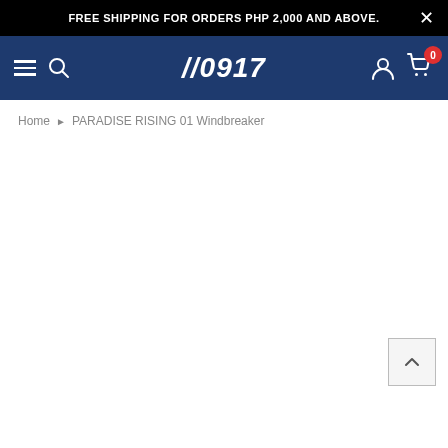FREE SHIPPING FOR ORDERS PHP 2,000 AND ABOVE.
[Figure (logo): //0917 brand logo in white text on dark navy navigation bar with hamburger menu, search icon, user icon, and cart icon with badge showing 0]
Home ▶ PARADISE RISING 01 Windbreaker